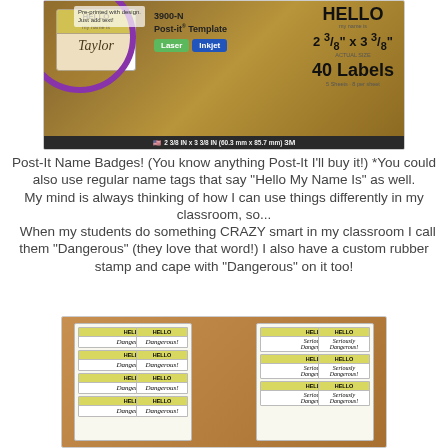[Figure (photo): Post-It Name Badges product box showing yellow packaging with HELLO name badge label, product number 3900-N, Post-it Template, Laser and Inkjet compatible, 2 3/8 x 3 3/8 inches actual size, 40 Labels, 5 sheets 8 per sheet, 3M brand]
Post-It Name Badges! (You know anything Post-It I'll buy it!) *You could also use regular name tags that say "Hello My Name Is" as well.
My mind is always thinking of how I can use things differently in my classroom, so...
When my students do something CRAZY smart in my classroom I call them "Dangerous" (they love that word!) I also have a custom rubber stamp and cape with "Dangerous" on it too!
[Figure (photo): Two sheets of Post-It name badges filled in with 'Dangerous' and 'Seriously Dangerous' written on them in cursive handwriting]